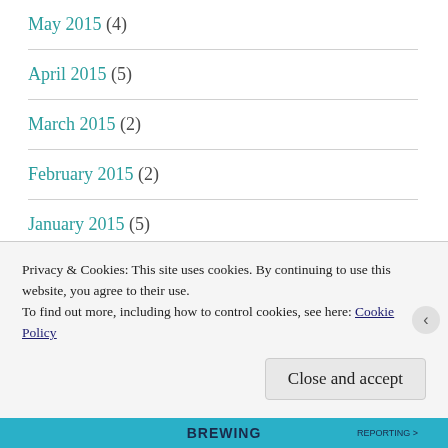May 2015 (4)
April 2015 (5)
March 2015 (2)
February 2015 (2)
January 2015 (5)
November 2014 (3)
October 2014 (4)
Privacy & Cookies: This site uses cookies. By continuing to use this website, you agree to their use.
To find out more, including how to control cookies, see here: Cookie Policy
Close and accept